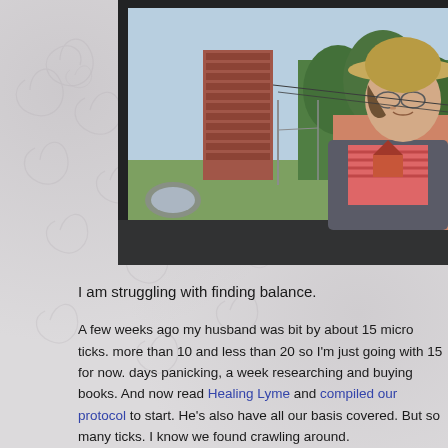[Figure (photo): Woman wearing a straw hat and striped shirt standing outside near a car window, with a brick building, grass, and trees visible in the background. Photo taken from inside a car showing the side mirror and car window frame.]
I am struggling with finding balance.
A few weeks ago my husband was bit by about 15 micro ticks. more than 10 and less than 20 so I'm just going with 15 for now. days panicking, a week researching and buying books. And now read Healing Lyme and compiled our protocol to start. He's also have all our basis covered. But so many ticks. I know we found crawling around.